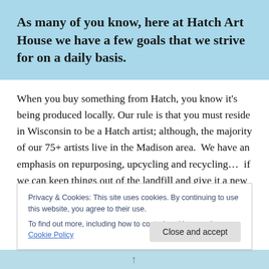As many of you know, here at Hatch Art House we have a few goals that we strive for on a daily basis.
When you buy something from Hatch, you know it's being produced locally. Our rule is that you must reside in Wisconsin to be a Hatch artist; although, the majority of our 75+ artists live in the Madison area.  We have an emphasis on repurposing, upcycling and recycling…  if we can keep things out of the landfill and give it a new life in
Privacy & Cookies: This site uses cookies. By continuing to use this website, you agree to their use.
To find out more, including how to control cookies, see here: Cookie Policy
Close and accept